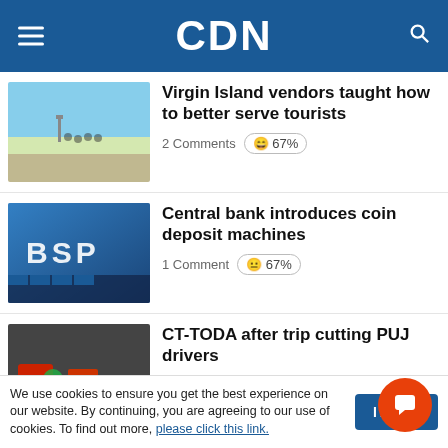CDN
Virgin Island vendors taught how to better serve tourists
2 Comments 😄 67%
Central bank introduces coin deposit machines
1 Comment 😐 67%
CT-TODA after trip cutting PUJ drivers
1 Comment
We use cookies to ensure you get the best experience on our website. By continuing, you are agreeing to our use of cookies. To find out more, please click this link.